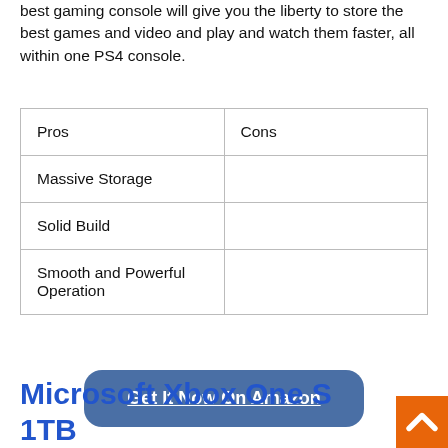best gaming console will give you the liberty to store the best games and video and play and watch them faster, all within one PS4 console.
| Pros | Cons |
| --- | --- |
| Massive Storage |  |
| Solid Build |  |
| Smooth and Powerful Operation |  |
[Figure (other): Blue rounded rectangle button with white underlined text 'Get It Now On Amazon']
Microsoft Xbox One S 1TB